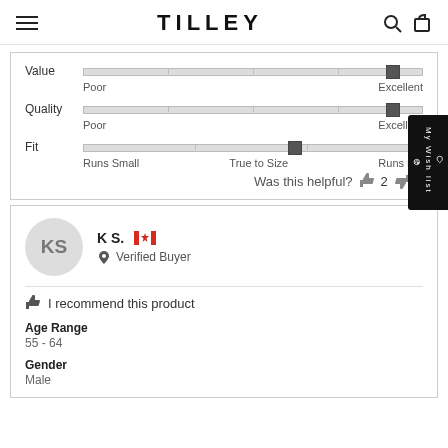TILLEY
[Figure (infographic): Product review rating sliders for Value (near Excellent), Quality (near Excellent), and Fit (slightly past True to Size toward Runs Big)]
Was this helpful? 2 0
KS — K S. — Verified Buyer (Canada)
I recommend this product
Age Range
55 - 64
Gender
Male